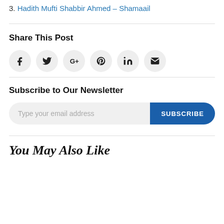3. Hadith Mufti Shabbir Ahmed – Shamaail
Share This Post
[Figure (infographic): Row of 6 social sharing icon buttons in light grey circles: Facebook, Twitter, Google+, Pinterest, LinkedIn, Email]
Subscribe to Our Newsletter
[Figure (infographic): Email subscription input field with placeholder 'Type your email address' and a blue SUBSCRIBE button]
You May Also Like